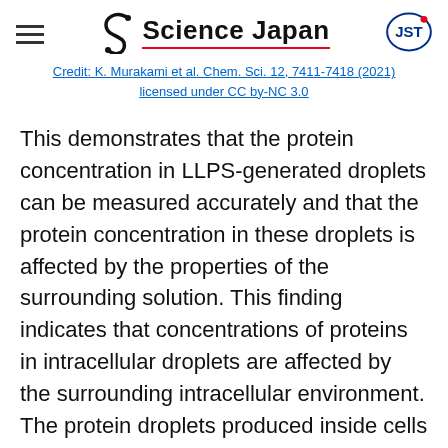Science Japan
Credit: K. Murakami et al. Chem. Sci. 12, 7411-7418 (2021) licensed under CC by-NC 3.0
This demonstrates that the protein concentration in LLPS-generated droplets can be measured accurately and that the protein concentration in these droplets is affected by the properties of the surrounding solution. This finding indicates that concentrations of proteins in intracellular droplets are affected by the surrounding intracellular environment. The protein droplets produced inside cells return to the uniformly dispersed original phases, but some droplets are believed to transform into protein aggregates that induce neurodegenerative diseases. In this study, the